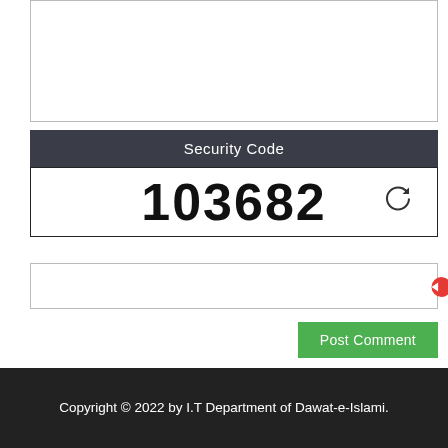[Figure (screenshot): Empty textarea input box with border]
Security Code
103682
[Figure (other): Refresh/cycle icon in dark color]
[Figure (other): Empty text input field with border]
[Figure (other): Red circle with left arrow on right edge]
Post Comment
Copyright © 2022 by I.T Department of Dawat-e-Islami.